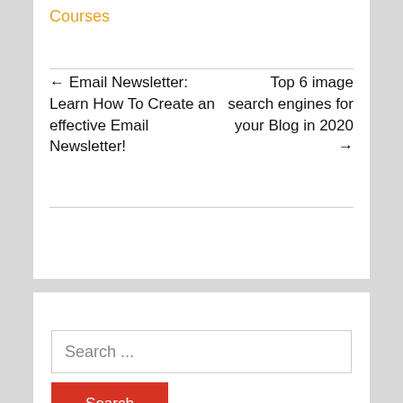Courses
← Email Newsletter: Learn How To Create an effective Email Newsletter!
Top 6 image search engines for your Blog in 2020 →
Search ...
Search